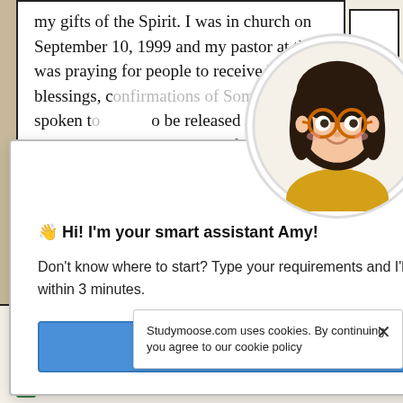my gifts of the Spirit. I was in church on September 10, 1999 and my pastor at the time was praying for people to receive healing, blessings, confirmations of Something God had spoken to be released from unclean the laying on of hands
[Figure (illustration): Animated avatar of a young woman with dark hair, round orange glasses, and a yellow/mustard top, in a circular frame]
👋 Hi! I'm your smart assistant Amy!

Don't know where to start? Type your requirements and I'll connect you to an academic expert within 3 minutes.

GET HELP WITH YOUR ASSIGNMENT
Words • 1158    Pages •
Paper Type:    120
[Figure (logo): TrustedSite logo with green checkmark badge]
tual
Studymoose.com uses cookies. By continuing you agree to our cookie policy